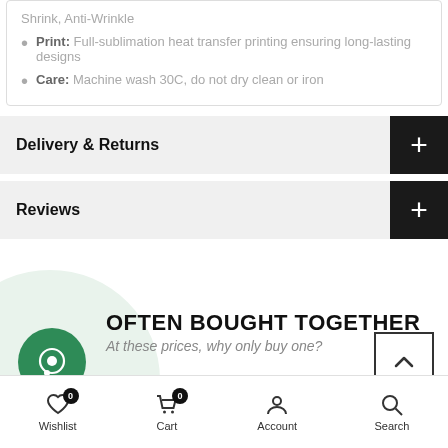Shrink, Anti-Wrinkle
Print: Full-sublimation heat transfer printing ensuring long-lasting designs
Care: Machine wash 30C, do not dry clean or iron
Delivery & Returns
Reviews
OFTEN BOUGHT TOGETHER
At these prices, why only buy one?
Wishlist 0  Cart 0  Account  Search